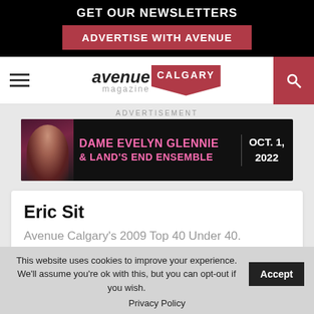GET OUR NEWSLETTERS
ADVERTISE WITH AVENUE
[Figure (logo): Avenue Calgary Magazine logo with red speech bubble]
ADVERTISEMENT
[Figure (photo): Dame Evelyn Glennie & Land's End Ensemble advertisement banner, Oct. 1, 2022]
Eric Sit
Avenue Calgary's 2009 Top 40 Under 40.
This website uses cookies to improve your experience. We'll assume you're ok with this, but you can opt-out if you wish.
Accept
Privacy Policy